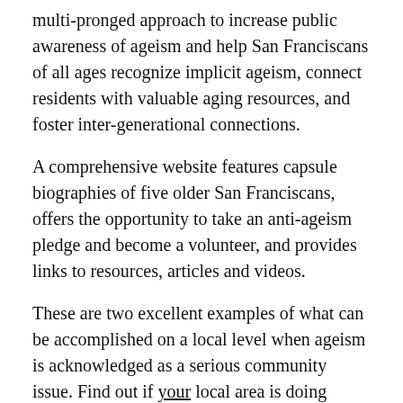multi-pronged approach to increase public awareness of ageism and help San Franciscans of all ages recognize implicit ageism, connect residents with valuable aging resources, and foster inter-generational connections.
A comprehensive website features capsule biographies of five older San Franciscans, offers the opportunity to take an anti-ageism pledge and become a volunteer, and provides links to resources, articles and videos.
These are two excellent examples of what can be accomplished on a local level when ageism is acknowledged as a serious community issue. Find out if your local area is doing something productive and join the fight against ageism!
Photo by Ron Lach on Pexels.com